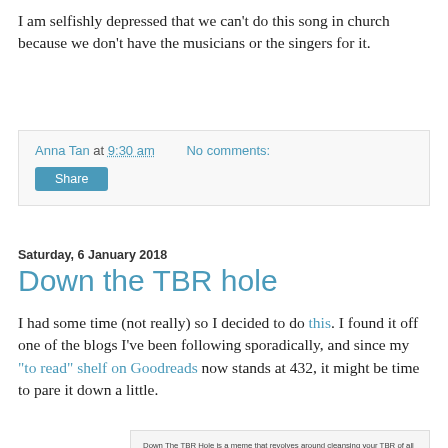I am selfishly depressed that we can't do this song in church because we don't have the musicians or the singers for it.
Anna Tan at 9:30 am   No comments:
Share
Saturday, 6 January 2018
Down the TBR hole
I had some time (not really) so I decided to do this. I found it off one of the blogs I've been following sporadically, and since my "to read" shelf on Goodreads now stands at 432, it might be time to pare it down a little.
Down The TBR Hole is a meme that revolves around cleansing your TBR of all those books you're never going to read and sort through it all to know what's actually on there.

Most of you probably know this feeling, your Goodreads TBR pile keeps growing and growing and it seems like there is no light at the end of the tunnel. You keep adding, but you add more than you actually read. And then when you're scrolling through your list, you realize that you have no idea what half the books are about and why you added them. Well that's going to change!